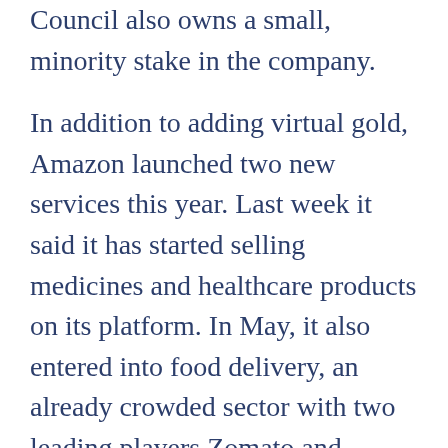Council also owns a small, minority stake in the company.
In addition to adding virtual gold, Amazon launched two new services this year. Last week it said it has started selling medicines and healthcare products on its platform. In May, it also entered into food delivery, an already crowded sector with two leading players Zomato and Swiggy.
The launch of virtual gold comes at a time when the festive period in India is about to start, beginning in September. E-